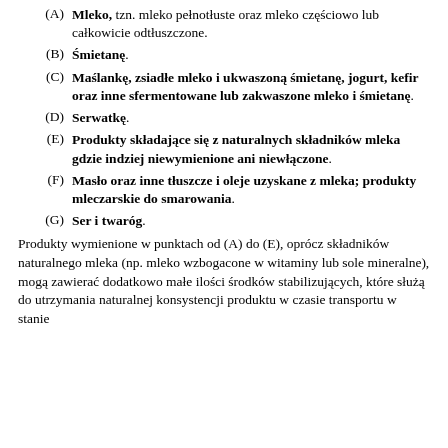(A) Mleko, tzn. mleko pełnotłuste oraz mleko częściowo lub całkowicie odtłuszczone.
(B) Śmietanę.
(C) Maślankę, zsiadłe mleko i ukwaszoną śmietanę, jogurt, kefir oraz inne sfermentowane lub zakwaszone mleko i śmietanę.
(D) Serwatkę.
(E) Produkty składające się z naturalnych składników mleka gdzie indziej niewymienione ani niewłączone.
(F) Masło oraz inne tłuszcze i oleje uzyskane z mleka; produkty mleczarskie do smarowania.
(G) Ser i twaróg.
Produkty wymienione w punktach od (A) do (E), oprócz składników naturalnego mleka (np. mleko wzbogacone w witaminy lub sole mineralne), mogą zawierać dodatkowo małe ilości środków stabilizujących, które służą do utrzymania naturalnej konsystencji produktu w czasie transportu w stanie